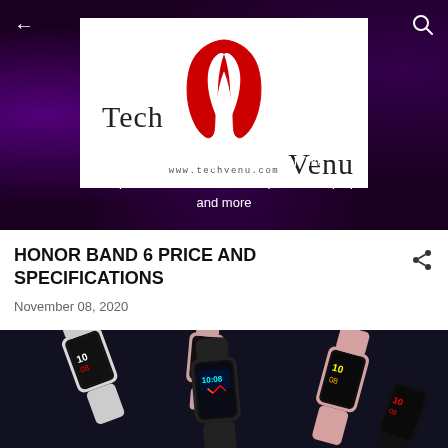[Figure (logo): TechVenu logo with red V chevron/harp shape and text 'Tech Venu' with www.techvenu.com underneath, set in a white box against a dark purple swirly background banner]
Find latest gadgets information like Smartphones, Tablet PCs, headphones, Laptops and more
HONOR BAND 6 PRICE AND SPECIFICATIONS
November 08, 2020
[Figure (photo): Multiple Honor Band 6 fitness bands displayed against a dark background, showing different color variants (black, white/silver, pink/rose gold) with colorful watch faces visible]